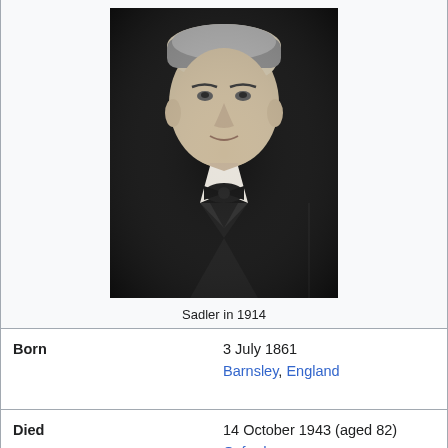[Figure (photo): Black and white portrait photograph of Sadler in 1914, a middle-aged man wearing a bow tie and formal suit jacket]
Sadler in 1914
| Born | 3 July 1861
Barnsley, England |
| Died | 14 October 1943 (aged 82)
Oxford |
| Occupation | Writer |